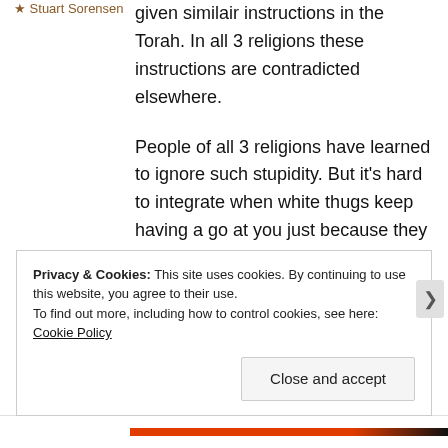★ Stuart Sorensen
given similair instructions in the Torah. In all 3 religions these instructions are contradicted elsewhere.
People of all 3 religions have learned to ignore such stupidity. But it's hard to integrate when white thugs keep having a go at you just because they don't know any better.
The EDL enlarges and maintains
Privacy & Cookies: This site uses cookies. By continuing to use this website, you agree to their use. To find out more, including how to control cookies, see here: Cookie Policy
Close and accept